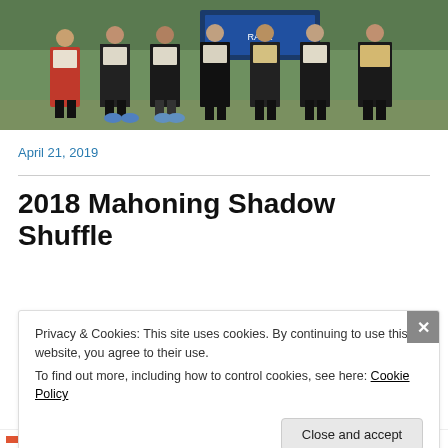[Figure (photo): Group of athletes standing in a line outdoors on grass, each holding a plaque or award. They are wearing athletic clothing in dark colors, with one person in red. Background shows a green field and a banner.]
April 21, 2019
2018 Mahoning Shadow Shuffle
Privacy & Cookies: This site uses cookies. By continuing to use this website, you agree to their use.
To find out more, including how to control cookies, see here: Cookie Policy
Close and accept